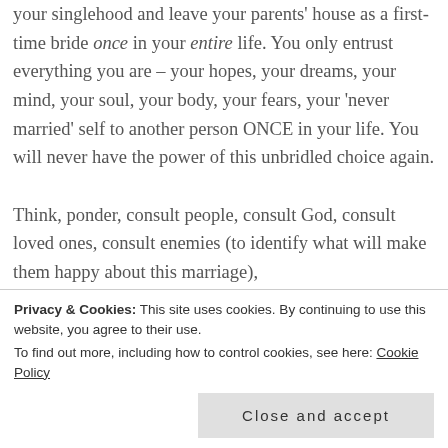your singlehood and leave your parents' house as a first-time bride once in your entire life. You only entrust everything you are – your hopes, your dreams, your mind, your soul, your body, your fears, your 'never married' self to another person ONCE in your life. You will never have the power of this unbridled choice again.

Think, ponder, consult people, consult God, consult loved ones, consult enemies (to identify what will make them happy about this marriage), consult children (they are called something at the bottom)
Privacy & Cookies: This site uses cookies. By continuing to use this website, you agree to their use. To find out more, including how to control cookies, see here: Cookie Policy
Close and accept